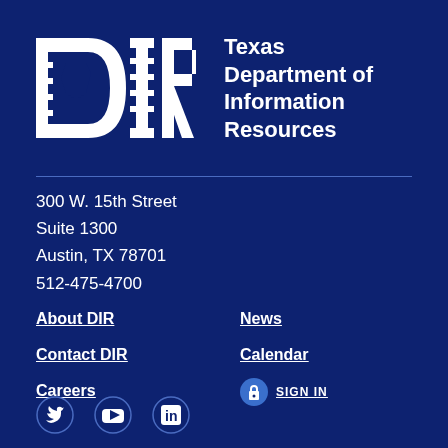[Figure (logo): DIR logo – white letters D, I, R with a Texas state outline graphic on dark navy background, followed by text 'Texas Department of Information Resources']
300 W. 15th Street
Suite 1300
Austin, TX 78701
512-475-4700
About DIR
Contact DIR
Careers
News
Calendar
SIGN IN
[Figure (illustration): Social media icons: Twitter bird, YouTube play button, LinkedIn 'in' logo]